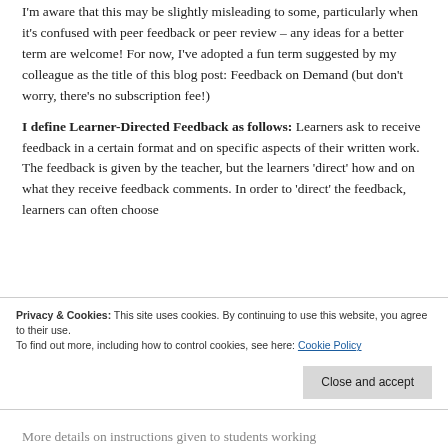I'm aware that this may be slightly misleading to some, particularly when it's confused with peer feedback or peer review – any ideas for a better term are welcome! For now, I've adopted a fun term suggested by my colleague as the title of this blog post: Feedback on Demand (but don't worry, there's no subscription fee!)
I define Learner-Directed Feedback as follows: Learners ask to receive feedback in a certain format and on specific aspects of their written work. The feedback is given by the teacher, but the learners 'direct' how and on what they receive feedback comments. In order to 'direct' the feedback, learners can often choose
Privacy & Cookies: This site uses cookies. By continuing to use this website, you agree to their use. To find out more, including how to control cookies, see here: Cookie Policy
More details on instructions given to students working